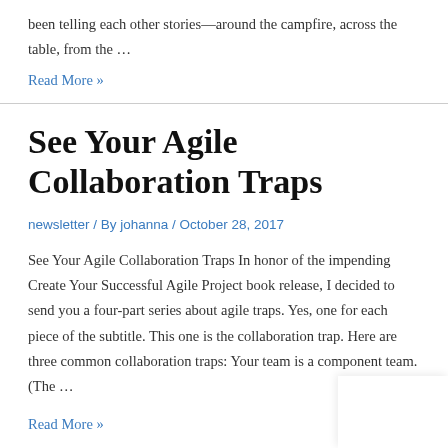been telling each other stories—around the campfire, across the table, from the …
Read More »
See Your Agile Collaboration Traps
newsletter / By johanna / October 28, 2017
See Your Agile Collaboration Traps In honor of the impending Create Your Successful Agile Project book release, I decided to send you a four-part series about agile traps. Yes, one for each piece of the subtitle. This one is the collaboration trap. Here are three common collaboration traps: Your team is a component team. (The …
Read More »